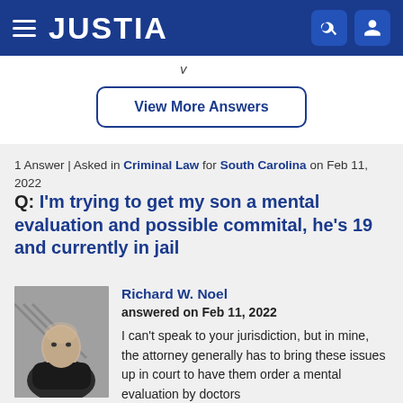JUSTIA
y
View More Answers
1 Answer | Asked in Criminal Law for South Carolina on Feb 11, 2022
Q: I'm trying to get my son a mental evaluation and possible commital, he's 19 and currently in jail
Richard W. Noel
answered on Feb 11, 2022
I can't speak to your jurisdiction, but in mine, the attorney generally has to bring these issues up in court to have them order a mental evaluation by doctors
[Figure (photo): Black and white headshot photo of Richard W. Noel, a bald man in a dark jacket, seated indoors]